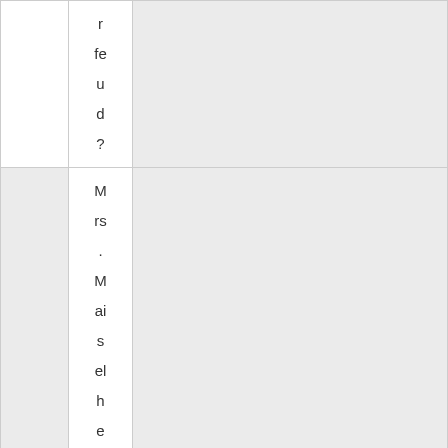|  | r
fe
u
d
? |  |
|  | Mrs. Maiselhea
ds
o |  |